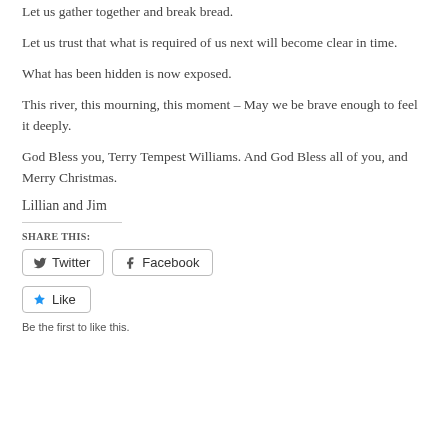Let us gather together and break bread.
Let us trust that what is required of us next will become clear in time.
What has been hidden is now exposed.
This river, this mourning, this moment – May we be brave enough to feel it deeply.
God Bless you, Terry Tempest Williams. And God Bless all of you, and Merry Christmas.
Lillian and Jim
SHARE THIS:
Twitter
Facebook
Like
Be the first to like this.